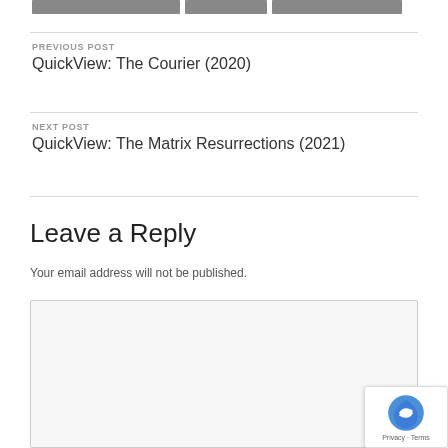[Figure (photo): Partial top strip showing three dark gray image thumbnails cropped at top of page]
PREVIOUS POST
QuickView: The Courier (2020)
NEXT POST
QuickView: The Matrix Resurrections (2021)
Leave a Reply
Your email address will not be published.
[Figure (other): Comment text area input box (empty, light gray background)]
[Figure (other): reCAPTCHA badge with logo and Privacy · Terms text]